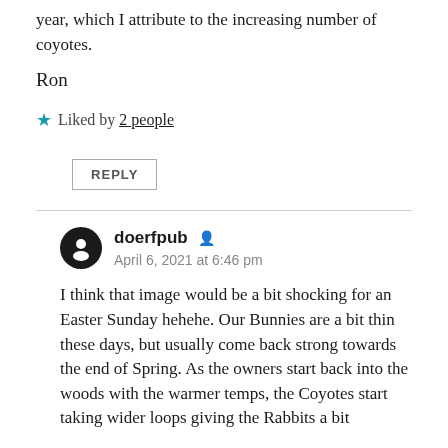year, which I attribute to the increasing number of coyotes.
Ron
Liked by 2 people
REPLY
doerfpub
April 6, 2021 at 6:46 pm
I think that image would be a bit shocking for an Easter Sunday hehehe. Our Bunnies are a bit thin these days, but usually come back strong towards the end of Spring. As the owners start back into the woods with the warmer temps, the Coyotes start taking wider loops giving the Rabbits a bit